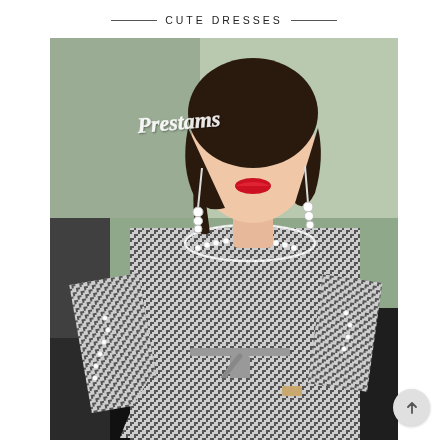CUTE DRESSES
[Figure (photo): A woman wearing a black and white plaid/houndstooth long-sleeved blouse with pearl trim details along the neckline, sleeves, and front placket, cinched at the waist with a tie belt. She sits on a dark sofa, wearing black pants. A cursive 'Prestams' watermark appears in the upper left of the image.]